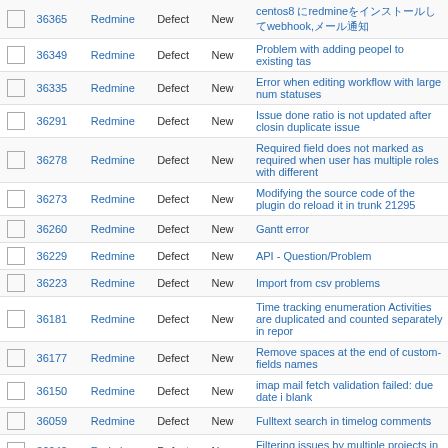|  | # | Project | Tracker | Status | Subject |
| --- | --- | --- | --- | --- | --- |
|  | 36365 | Redmine | Defect | New | centos8 にredmineをインストールしてwebhook,メール通知 |
|  | 36349 | Redmine | Defect | New | Problem with adding peopel to existing tas |
|  | 36335 | Redmine | Defect | New | Error when editing workflow with large num statuses |
|  | 36291 | Redmine | Defect | New | Issue done ratio is not updated after closin duplicate issue |
|  | 36278 | Redmine | Defect | New | Required field does not marked as required when user has multiple roles with different |
|  | 36273 | Redmine | Defect | New | Modifying the source code of the plugin do reload it in trunk 21295 |
|  | 36260 | Redmine | Defect | New | Gantt error |
|  | 36229 | Redmine | Defect | New | API - Question/Problem |
|  | 36223 | Redmine | Defect | New | Import from csv problems |
|  | 36181 | Redmine | Defect | New | Time tracking enumeration Activities are duplicated and counted separately in repor |
|  | 36177 | Redmine | Defect | New | Remove spaces at the end of custom-fields names |
|  | 36150 | Redmine | Defect | New | imap mail fetch validation failed: due date i blank |
|  | 36059 | Redmine | Defect | New | Fulltext search in timelog comments |
|  | 36042 | Redmine | Defect | New | Filtering issues by multiple projects in RES returns a 404 |
|  | 36031 | Redmine | Defect | New | REST API show wiki page in html format contains wrong links to another wiki projec |
|  | 36023 | Redmine | Defect | New | Export project news to pdf (images in desc are not showing in exported pdf file) |
|  | 36004 | Redmine | Defect | New | file sestem reposatory dont list the arabic f |
|  | 35965 | Redmine | Defect | New | REST group api does not work when user already member of group |